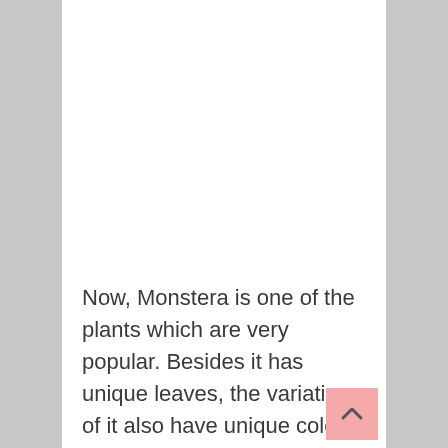Now, Monstera is one of the plants which are very popular. Besides it has unique leaves, the variations of it also have unique color. You may want to have Monstera Albo Borsigiana White Tiger Deliciosa Variegated Single and Double Node cutting stick which is wet. Where